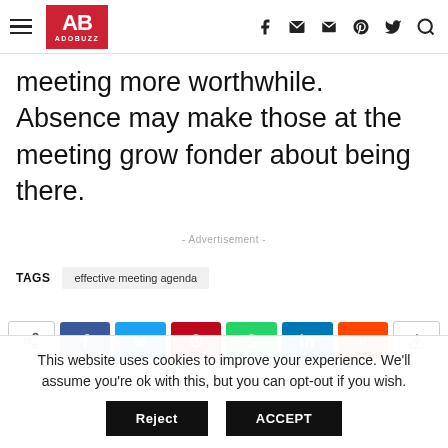AB ADOBUZZ
meeting more worthwhile. Absence may make those at the meeting grow fonder about being there.
- Advertisement -
TAGS   effective meeting agenda
This website uses cookies to improve your experience. We'll assume you're ok with this, but you can opt-out if you wish.
Reject   ACCEPT